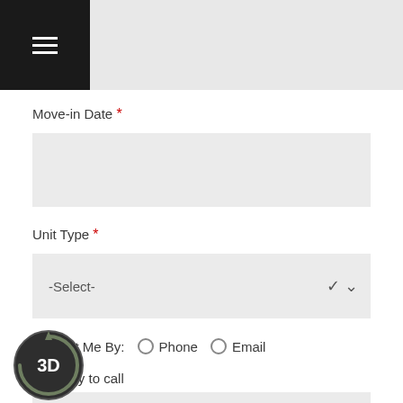≡
Move-in Date *
Unit Type *
-Select-
Contact Me By:  Phone  Email
Best day to call
-Select-
Comments